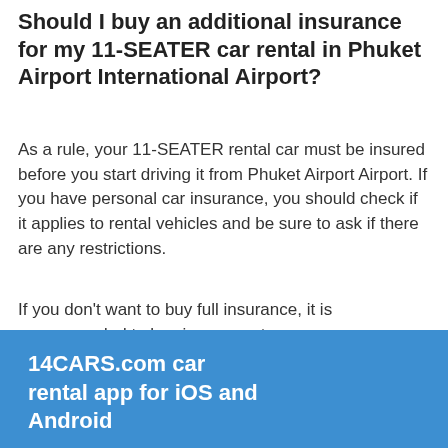Should I buy an additional insurance for my 11-SEATER car rental in Phuket Airport International Airport?
As a rule, your 11-SEATER rental car must be insured before you start driving it from Phuket Airport Airport. If you have personal car insurance, you should check if it applies to rental vehicles and be sure to ask if there are any restrictions.
If you don't want to buy full insurance, it is recommended to buy insurance to secure your deposit. To do this, you must have a sufficient amount of money on your credit card to cover a deposit and buy Excess insurance on 14CARS.com on the reservation stage.
14CARS.com car rental app for iOS and Android